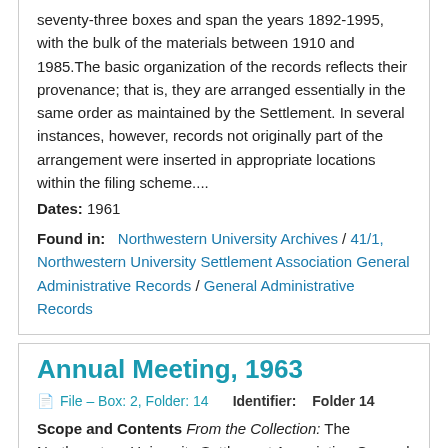seventy-three boxes and span the years 1892-1995, with the bulk of the materials between 1910 and 1985.The basic organization of the records reflects their provenance; that is, they are arranged essentially in the same order as maintained by the Settlement. In several instances, however, records not originally part of the arrangement were inserted in appropriate locations within the filing scheme....
Dates: 1961
Found in: Northwestern University Archives / 41/1, Northwestern University Settlement Association General Administrative Records / General Administrative Records
Annual Meeting, 1963
File – Box: 2, Folder: 14    Identifier: Folder 14
Scope and Contents From the Collection: The Northwestern University Settlement Association General Administration Records fill seventy-three boxes and span the years 1892-1995, with the bulk of the materials between 1910 and 1985.The basic organization of the records reflects their provenance; that is, they are arranged essentially in the same order as maintained by the Settlement. In